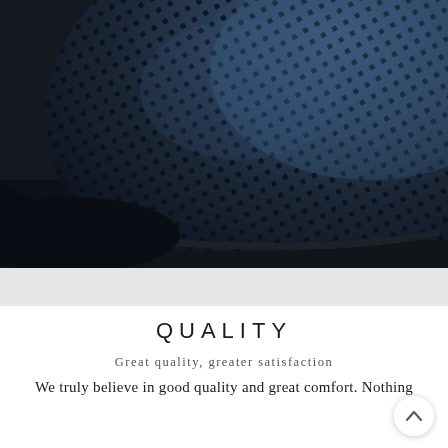[Figure (photo): Close-up macro photograph of a perforated blue-black leather shoe with a grid pattern of small square holes, showing the curved toe and dark rubber sole on a dark background.]
QUALITY
Great quality, greater satisfaction
We truly believe in good quality and great comfort. Nothing